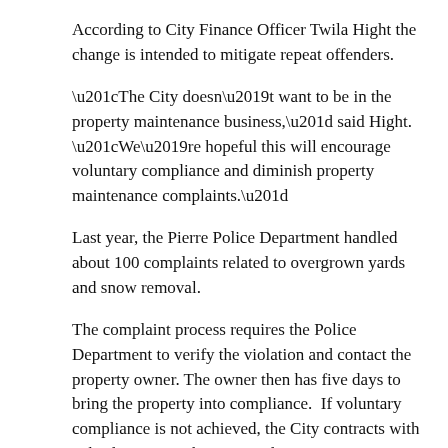According to City Finance Officer Twila Hight the change is intended to mitigate repeat offenders.
“The City doesn’t want to be in the property maintenance business,” said Hight. “We’re hopeful this will encourage voluntary compliance and diminish property maintenance complaints.”
Last year, the Pierre Police Department handled about 100 complaints related to overgrown yards and snow removal.
The complaint process requires the Police Department to verify the violation and contact the property owner. The owner then has five days to bring the property into compliance.  If voluntary compliance is not achieved, the City contracts with a third party to achieve compliance.
“Generally, that means we hire a private lawn service to cut weeds, mow grass, or remove snow,” said Police Chief Jason Jones.